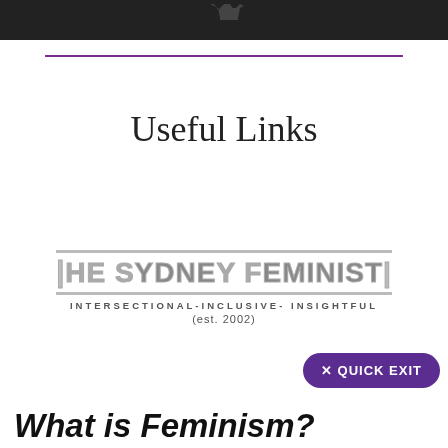[Figure (photo): Dark/black photo strip at top of page showing partial view of a shirt or figure against dark background]
Useful Links
[Figure (logo): The Sydney Feminists logo with text 'INTERSECTIONAL-INCLUSIVE-INSIGHTFUL (est. 2002)']
✕ QUICK EXIT
What is Feminism?